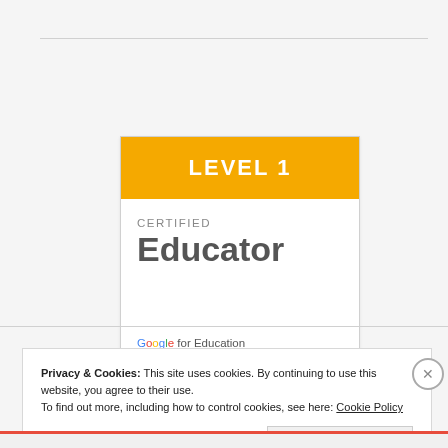[Figure (logo): Google Certified Educator Level 1 badge. Orange header with 'LEVEL 1' in white text, white body with 'CERTIFIED' in small grey caps above large grey 'Educator' text, and 'Google for Education' logo at the bottom.]
Privacy & Cookies: This site uses cookies. By continuing to use this website, you agree to their use. To find out more, including how to control cookies, see here: Cookie Policy
Close and accept